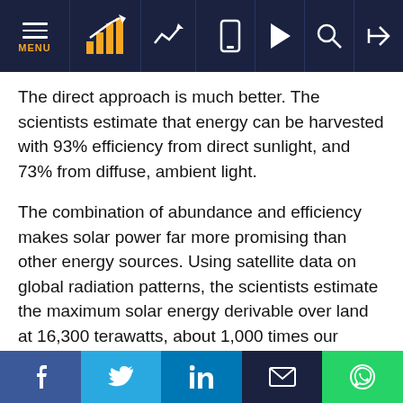Navigation bar with MENU, chart icon, trend icon, phone icon, play icon, search icon, login icon
The direct approach is much better. The scientists estimate that energy can be harvested with 93% efficiency from direct sunlight, and 73% from diffuse, ambient light.
The combination of abundance and efficiency makes solar power far more promising than other energy sources. Using satellite data on global radiation patterns, the scientists estimate the maximum solar energy derivable over land at 16,300 terawatts, about 1,000 times our current energy usage. That's more than 100 times what can be had from either wind or biomass. Adding energy gathered over the oceans doesn't change the picture much.
Social share buttons: Facebook, Twitter, LinkedIn, Email, WhatsApp